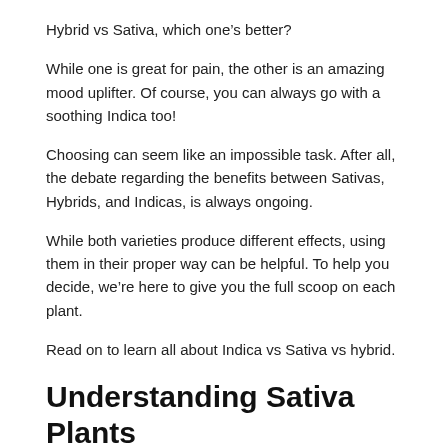Hybrid vs Sativa, which one's better?
While one is great for pain, the other is an amazing mood uplifter. Of course, you can always go with a soothing Indica too!
Choosing can seem like an impossible task. After all, the debate regarding the benefits between Sativas, Hybrids, and Indicas, is always ongoing.
While both varieties produce different effects, using them in their proper way can be helpful. To help you decide, we're here to give you the full scoop on each plant.
Read on to learn all about Indica vs Sativa vs hybrid.
Understanding Sativa Plants
Let's take a closer look at what Sativa is all about. Sativa is the name